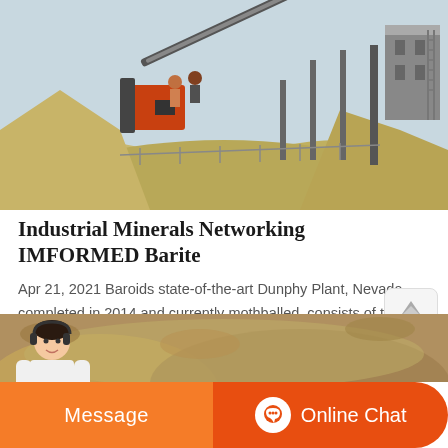[Figure (photo): Industrial mining facility with conveyor belt system, crusher equipment, and large sand/barite ore piles at a quarry site]
Industrial Minerals Networking IMFORMED Barite
Apr 21, 2021 Baroids state-of-the-art Dunphy Plant, Nevada, completed in 2014 and currently mothballed, consists of two 85-in Williams Crusher Mill Systems, capable of processing 50 tpa barite ore. There is also an automated 800 tpd packaging system for bagged material.
[Figure (photo): Partial view of a quarry or mineral extraction site]
Message
Online Chat